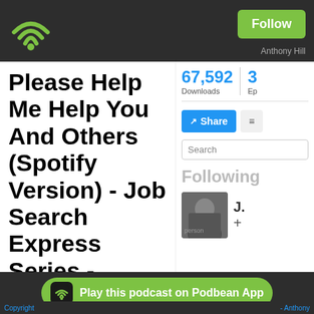Podbean App header with WiFi logo and Follow button
Please Help Me Help You And Others (Spotify Version) - Job Search Express Series -
This podcast talks a little bit about self-confidence and your ability to sell yourself as well as your ability to help this podcast to grow. Please listen to this podcast and learn how you can help yourself and how you can help me to make this podcast even bigger than it is now. Check it out and let me know what you think.
67,592 Downloads
Anthony Hill
Share
Search
Following
J. +
Play this podcast on Podbean App
Copyright - Anthony